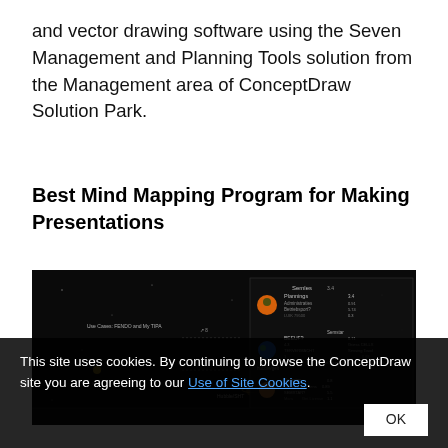and vector drawing software using the Seven Management and Planning Tools solution from the Management area of ConceptDraw Solution Park.
Best Mind Mapping Program for Making Presentations
[Figure (screenshot): Screenshot of a mind mapping / presentation software showing a dark background with planets and data panels on the right side, resembling a solar system mind map.]
This site uses cookies. By continuing to browse the ConceptDraw site you are agreeing to our Use of Site Cookies.